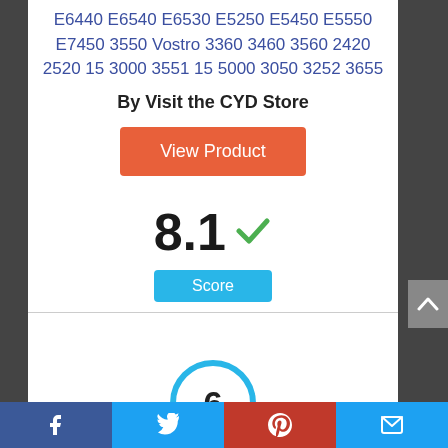E6440 E6540 E6530 E5250 E5450 E5550 E7450 3550 Vostro 3360 3460 3560 2420 2520 15 3000 3551 15 5000 3050 3252 3655
By Visit the CYD Store
[Figure (other): Orange 'View Product' button]
8.1 ✓
Score
[Figure (other): Blue circle with number 6 inside]
[Figure (other): Social share bar with Facebook, Twitter, Pinterest, and email icons]